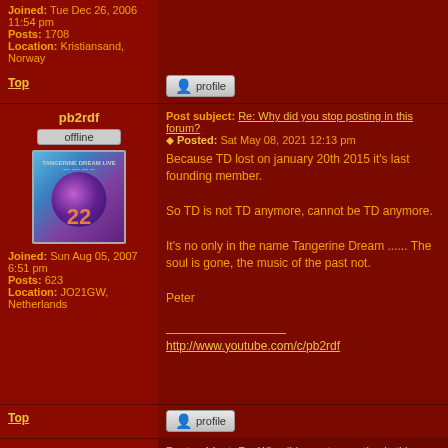Joined: Tue Dec 26, 2006 11:54 pm
Posts: 1708
Location: Kristiansand, Norway
Top
[Figure (other): Profile button icon]
pb2rdf
offline
[Figure (other): Album art avatar showing number 22 with purple circle on blue/water background, Tangerine Dream Live label]
Joined: Sun Aug 05, 2007 6:51 pm
Posts: 623
Location: JO21GW, Netherlands
Post subject: Re: Why did you stop posting in this forum?
Posted: Sat May 08, 2021 12:13 pm
Because TD lost on january 20th 2015 it's last founding member.

So TD is not TD anymore, cannot be TD anymore.

It's no only in the name Tangerine Dream ...... The soul is gone, the music of the past not.

Peter

___________________
http://www.youtube.com/c/pb2rdf
Top
[Figure (other): Profile button icon]
Misterdance
Post subject: Re: Why did you stop posting in this forum?
Posted: Sun Jun 06, 2021 6:15 pm